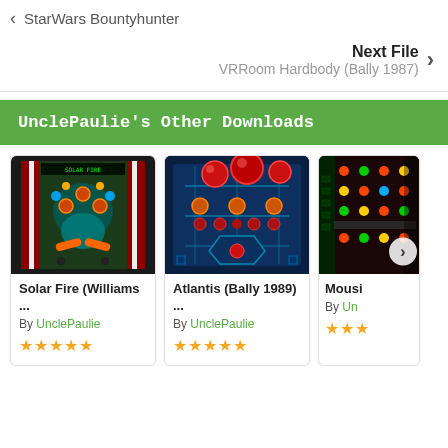StarWars Bountyhunter
Next File
VRRoom Hardbody (Bally 1987)
UnclePaulie's Other Downloads
[Figure (photo): Pinball table top-down view - Solar Fire (Williams)]
Solar Fire (Williams ...
By UnclePaulie
★★★★★
[Figure (photo): Pinball table top-down view - Atlantis (Bally 1989)]
Atlantis (Bally 1989) ...
By UnclePaulie
★★★★★
[Figure (photo): Partial pinball table image - Mousi...]
Mousi
By Un
★★★